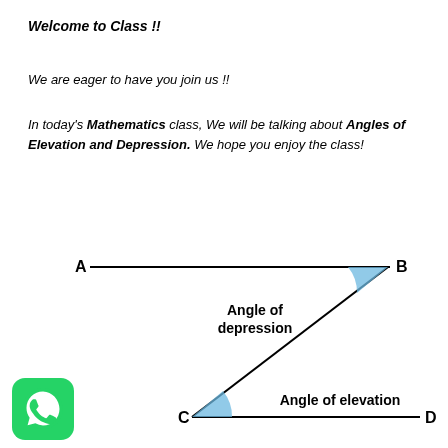Welcome to Class !!
We are eager to have you join us !!
In today's Mathematics class, We will be talking about Angles of Elevation and Depression. We hope you enjoy the class!
[Figure (illustration): Diagram showing angle of depression at point B (with horizontal line AB) and angle of elevation at point C (with horizontal line CD), connected by a diagonal line from B down to C. Blue shaded sectors mark both angles.]
[Figure (logo): WhatsApp logo — green rounded square with white phone icon]